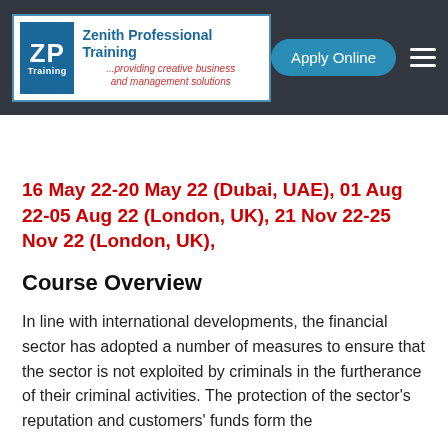Zenith Professional Training — Apply Online
16 May 22-20 May 22 (Dubai, UAE), 01 Aug 22-05 Aug 22 (London, UK), 21 Nov 22-25 Nov 22 (London, UK),
Course Overview
In line with international developments, the financial sector has adopted a number of measures to ensure that the sector is not exploited by criminals in the furtherance of their criminal activities. The protection of the sector's reputation and customers' funds form the